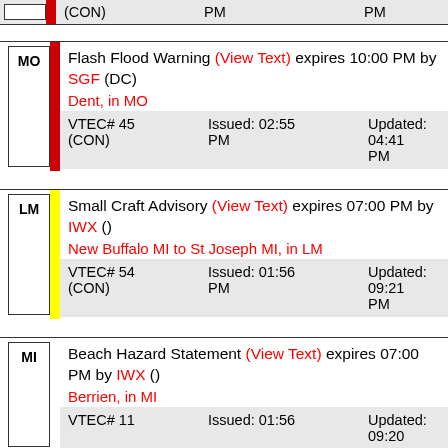| State | Color | Alert Info |
| --- | --- | --- |
|  | (CON) | PM | PM |
| MO | Flash Flood Warning (View Text) expires 10:00 PM by SGF (DC) | Dent, in MO | VTEC# 45 (CON) | Issued: 02:55 PM | Updated: 04:41 PM |
| LM | Small Craft Advisory (View Text) expires 07:00 PM by IWX () | New Buffalo MI to St Joseph MI, in LM | VTEC# 54 (CON) | Issued: 01:56 PM | Updated: 09:21 PM |
| MI | Beach Hazard Statement (View Text) expires 07:00 PM by IWX () | Berrien, in MI | VTEC# 11 | Issued: 01:56 | Updated: 09:20 |